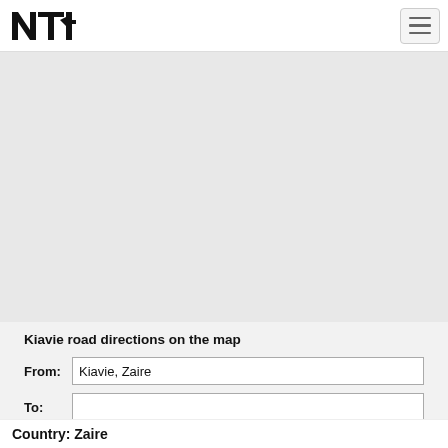NTI logo and navigation header
[Figure (map): Gray map area showing road directions for Kiavie, Zaire]
Kiavie road directions on the map
From: Kiavie, Zaire
To:
Get Directions
Country: Zaire